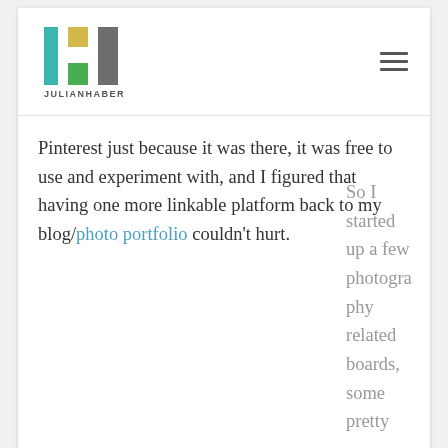[Figure (logo): Julian Haber logo with geometric colored blocks (teal, yellow/gold, gray, green) arranged in a stylized 'H' pattern, with text JULIANHABER below]
Pinterest just because it was there, it was free to use and experiment with, and I figured that having one more linkable platform back to my blog/photo portfolio couldn't hurt.
So I started up a few photography related boards, some pretty